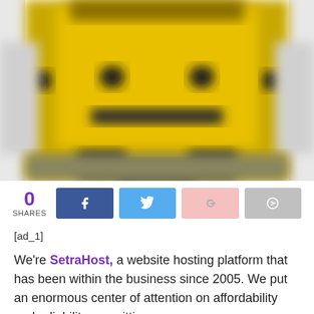[Figure (photo): Blurred yellow robot or mechanical character image, cropped to show torso/head area with dark details on golden-yellow background]
0 SHARES
[ad_1]
We're SetraHost, a website hosting platform that has been within the business since 2005. We put an enormous center of attention on affordability and reliability, permitting